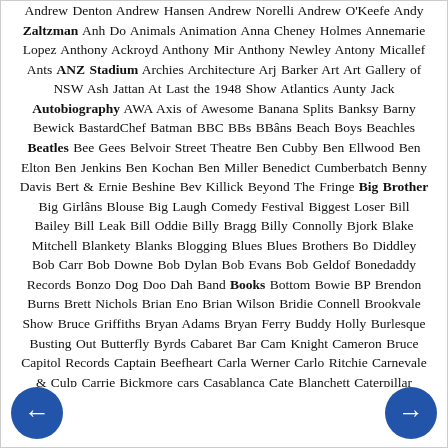Andrew Denton Andrew Hansen Andrew Norelli Andrew O'Keefe Andy Zaltzman Anh Do Animals Animation Anna Cheney Holmes Annemarie Lopez Anthony Ackroyd Anthony Mir Anthony Newley Antony Micallef Ants ANZ Stadium Archies Architecture Arj Barker Art Art Gallery of NSW Ash Jattan At Last the 1948 Show Atlantics Aunty Jack Autobiography AWA Axis of Awesome Banana Splits Banksy Barny Bewick BastardChef Batman BBC BBs BBâns Beach Boys Beachles Beatles Bee Gees Belvoir Street Theatre Ben Cubby Ben Ellwood Ben Elton Ben Jenkins Ben Kochan Ben Miller Benedict Cumberbatch Benny Davis Bert & Ernie Beshine Bev Killick Beyond The Fringe Big Brother Big Girlâns Blouse Big Laugh Comedy Festival Biggest Loser Bill Bailey Bill Leak Bill Oddie Billy Bragg Billy Connolly Bjork Blake Mitchell Blankety Blanks Blogging Blues Blues Brothers Bo Diddley Bob Carr Bob Downe Bob Dylan Bob Evans Bob Geldof Bonedaddy Records Bonzo Dog Doo Dah Band Books Bottom Bowie BP Brendon Burns Brett Nichols Brian Eno Brian Wilson Bridie Connell Brookvale Show Bruce Griffiths Bryan Adams Bryan Ferry Buddy Holly Burlesque Busting Out Butterfly Byrds Cabaret Bar Cam Knight Cameron Bruce Capitol Records Captain Beefheart Carla Werner Carlo Ritchie Carnevale & Culp Carrie Bickmore cars Casablanca Cate Blanchett Caterpillar